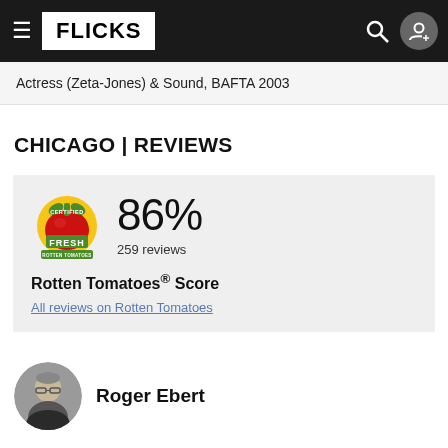FLICKS
Actress (Zeta-Jones) & Sound, BAFTA 2003
CHICAGO | REVIEWS
[Figure (infographic): Rotten Tomatoes Certified Fresh badge with 86% score and 259 reviews label]
Rotten Tomatoes® Score
All reviews on Rotten Tomatoes
Roger Ebert